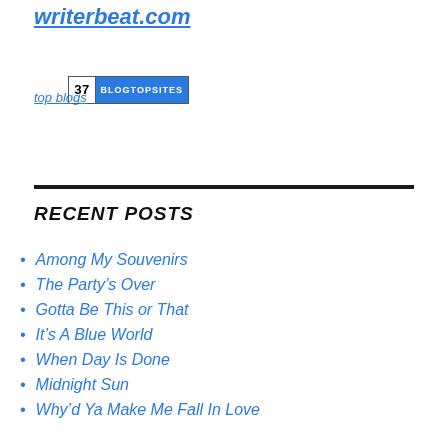writerbeat.com
[Figure (other): Blog Top Sites badge showing rank 37]
top blogs
RECENT POSTS
Among My Souvenirs
The Party’s Over
Gotta Be This or That
It’s A Blue World
When Day Is Done
Midnight Sun
Why’d Ya Make Me Fall In Love